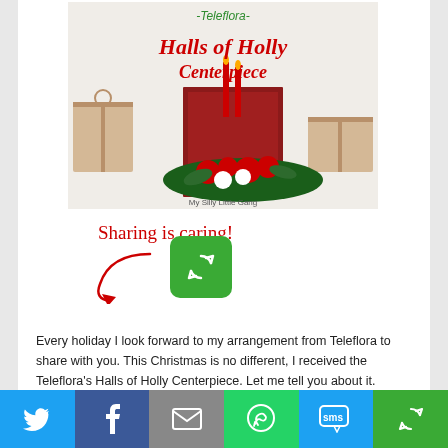[Figure (photo): Teleflora Halls of Holly Centerpiece product image with text overlay showing brand name and product title]
[Figure (infographic): Sharing is caring! text with arrow and green share button icon]
Every holiday I look forward to my arrangement from Teleflora to share with you. This Christmas is no different, I received the Teleflora’s Halls of Holly Centerpiece. Let me tell you about it. Teleflora’s Halls of Holly Centerpiece I love having…
[Figure (infographic): READ MORE button in light blue/teal color]
[Figure (infographic): Social sharing bar with Twitter, Facebook, Email, WhatsApp, SMS, and More icons]